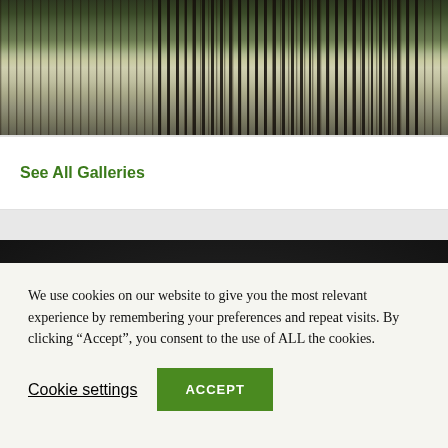[Figure (photo): Outdoor photo showing iron fence/gate with green shrubs and trees in a park or municipal building area]
See All Galleries
BEDFORD HISTORY
The Borough of Bedford Municipal Building houses the following
We use cookies on our website to give you the most relevant experience by remembering your preferences and repeat visits. By clicking “Accept”, you consent to the use of ALL the cookies.
Cookie settings
ACCEPT